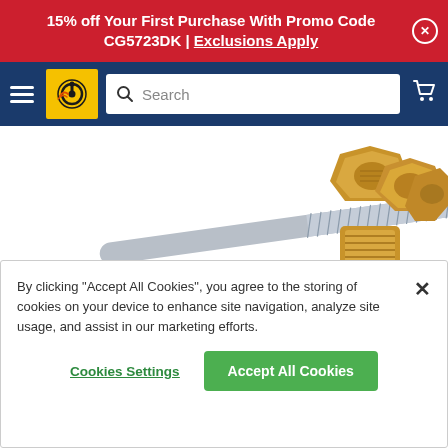15% off Your First Purchase With Promo Code CG5723DK | Exclusions Apply
[Figure (screenshot): Navigation bar with hamburger menu, yellow logo with wheel icon, search bar, and cart icon on dark blue background]
[Figure (photo): Assorted brass fittings, washers, a c-clip, and a threaded steel rod on white background]
By clicking "Accept All Cookies", you agree to the storing of cookies on your device to enhance site navigation, analyze site usage, and assist in our marketing efforts.
Cookies Settings
Accept All Cookies